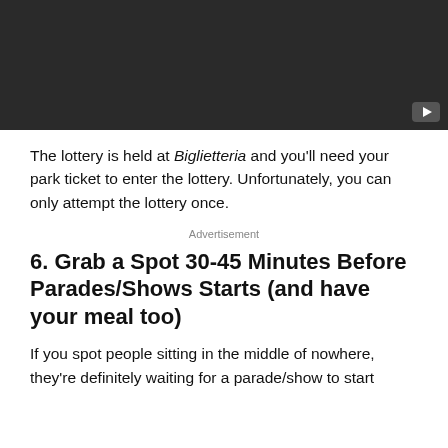[Figure (screenshot): Video thumbnail with dark background and YouTube play button in bottom-right corner]
The lottery is held at Biglietteria and you’ll need your park ticket to enter the lottery. Unfortunately, you can only attempt the lottery once.
Advertisement
6. Grab a Spot 30-45 Minutes Before Parades/Shows Starts (and have your meal too)
If you spot people sitting in the middle of nowhere, they’re definitely waiting for a parade/show to start